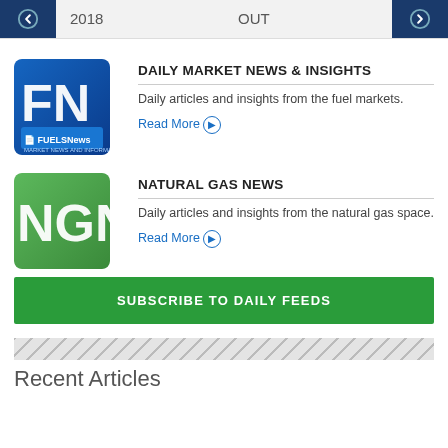2018 | OUT
DAILY MARKET NEWS & INSIGHTS
Daily articles and insights from the fuel markets.
Read More
NATURAL GAS NEWS
Daily articles and insights from the natural gas space.
Read More
SUBSCRIBE TO DAILY FEEDS
Recent Articles